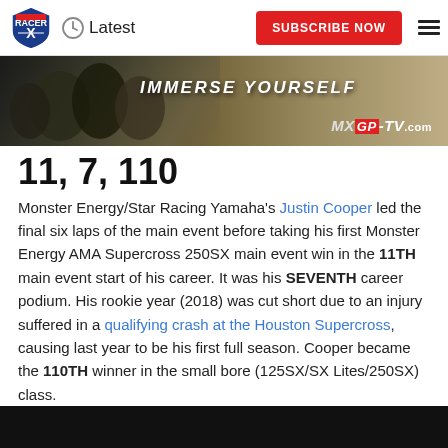Latest  |  SUBSCRIBE NOW
[Figure (photo): MXGP-TV.com advertisement banner with motocross riders and text 'IMMERSE YOURSELF']
11, 7, 110
Monster Energy/Star Racing Yamaha's Justin Cooper led the final six laps of the main event before taking his first Monster Energy AMA Supercross 250SX main event win in the 11TH main event start of his career. It was his SEVENTH career podium. His rookie year (2018) was cut short due to an injury suffered in a qualifying crash at the Houston Supercross, causing last year to be his first full season. Cooper became the 110TH winner in the small bore (125SX/SX Lites/250SX) class.
[Figure (photo): Motocross action photo at bottom of page, dark image]